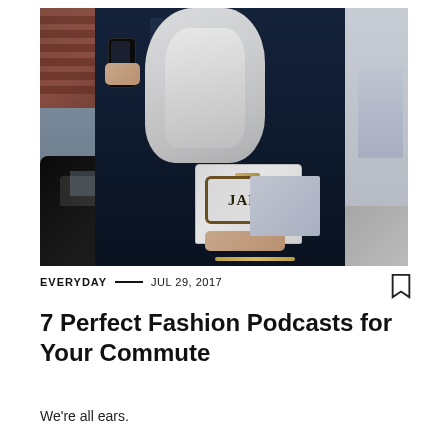[Figure (photo): Street style photo of a woman with long white/silver hair wearing a dark navy blazer, holding a smartphone and carrying a white/silver structured handbag with 'JAD' lettering on it. Shot outdoors on a city street with a dark car and brick building in the background.]
EVERYDAY — JUL 29, 2017
7 Perfect Fashion Podcasts for Your Commute
We're all ears.